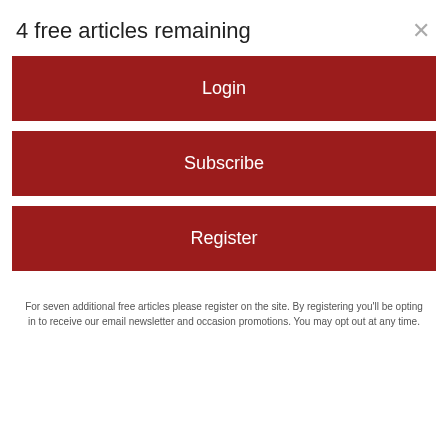4 free articles remaining
Login
Subscribe
Register
For seven additional free articles please register on the site. By registering you'll be opting in to receive our email newsletter and occasion promotions. You may opt out at any time.
Amid smugglers' New Buffet
Though only a year old, this family-owned buffet is clearly on its way to becoming an establishment.